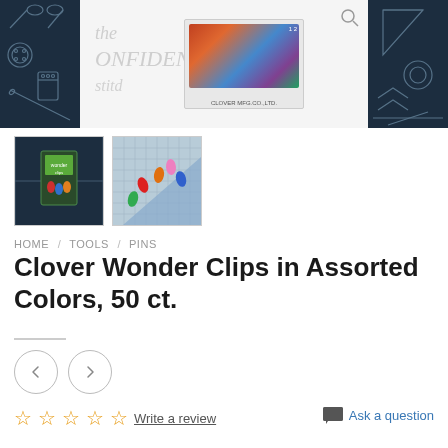[Figure (photo): Product page screenshot showing Clover Wonder Clips in assorted colors. Top strip with dark sewing-themed panels on left and right, product box image in center. Two thumbnail images below: one showing product packaging on dark background, one showing clips on a cutting mat. Breadcrumb navigation, product title, navigation arrows, star rating, and ask a question link.]
HOME / TOOLS / PINS
Clover Wonder Clips in Assorted Colors, 50 ct.
Write a review
Ask a question